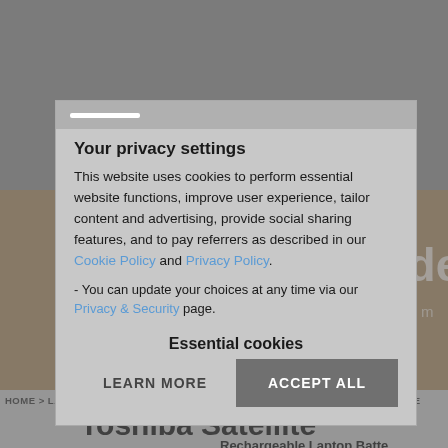[Figure (screenshot): Background website page with banner text 'Add our PartFinder to y...' on a brown/tan background, breadcrumb navigation, search icon, and partial product page for Toshiba Satellite]
Your privacy settings
This website uses cookies to perform essential website functions, improve user experience, tailor content and advertising, provide social sharing features, and to pay referrers as described in our Cookie Policy and Privacy Policy.
You can update your choices at any time via our Privacy & Security page.
Essential cookies
LEARN MORE
ACCEPT ALL